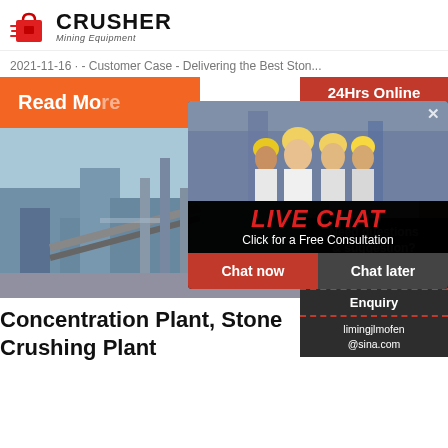[Figure (logo): Crusher Mining Equipment logo with red shopping bag icon and bold CRUSHER text]
2021-11-16 · - Customer Case - Delivering the Best Ston...
Read More
[Figure (photo): Stone crushing plant / concentration plant industrial equipment]
[Figure (photo): Live chat popup with workers in yellow hard hats and consultation prompt]
24Hrs Online
[Figure (photo): Customer service representative with headset]
Need questions & suggestion?
Chat Now
Enquiry
limingjlmofen@sina.com
Concentration Plant, Stone Crushing Plant